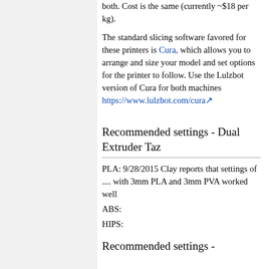both. Cost is the same (currently ~$18 per kg).
The standard slicing software favored for these printers is Cura, which allows you to arrange and size your model and set options for the printer to follow. Use the Lulzbot version of Cura for both machines https://www.lulzbot.com/cura
Recommended settings - Dual Extruder Taz
PLA: 9/28/2015 Clay reports that settings of .... with 3mm PLA and 3mm PVA worked well
ABS:
HIPS:
Recommended settings -